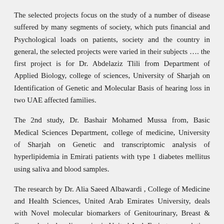The selected projects focus on the study of a number of disease suffered by many segments of society, which puts financial and Psychological loads on patients, society and the country in general, the selected projects were varied in their subjects …. the first project is for Dr. Abdelaziz Tlili from Department of Applied Biology, college of sciences, University of Sharjah on Identification of Genetic and Molecular Basis of hearing loss in two UAE affected families.
The 2nd study, Dr. Bashair Mohamed Mussa from, Basic Medical Sciences Department, college of medicine, University of Sharjah on Genetic and transcriptomic analysis of hyperlipidemia in Emirati patients with type 1 diabetes mellitus using saliva and blood samples.
The research by Dr. Alia Saeed Albawardi , College of Medicine and Health Sciences, United Arab Emirates University, deals with Novel molecular biomarkers of Genitourinary, Breast & Gynecological malignancies in United Arab Emirates population.
Also Dr. Abderrahim Oulhaj from, Institute of Public Health, College of Medicine and Health Sciences, United Arab Emirates University, is examining